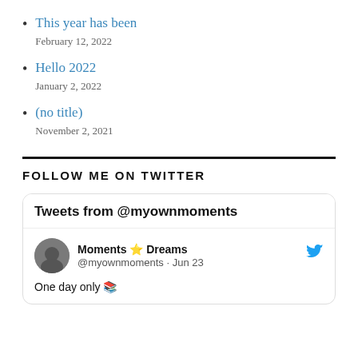This year has been
February 12, 2022
Hello 2022
January 2, 2022
(no title)
November 2, 2021
FOLLOW ME ON TWITTER
[Figure (screenshot): Embedded Twitter timeline widget showing tweets from @myownmoments. Header reads 'Tweets from @myownmoments'. A tweet from 'Moments ⭐ Dreams @myownmoments · Jun 23' with text 'One day only 📚']